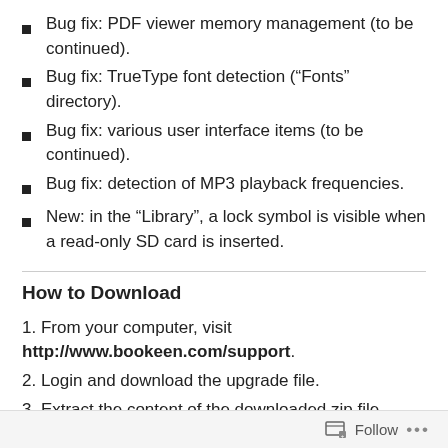Bug fix: PDF viewer memory management (to be continued).
Bug fix: TrueType font detection (“Fonts” directory).
Bug fix: various user interface items (to be continued).
Bug fix: detection of MP3 playback frequencies.
New: in the “Library”, a lock symbol is visible when a read-only SD card is inserted.
How to Download
1. From your computer, visit http://www.bookeen.com/support.
2. Login and download the upgrade file.
3. Extract the content of the downloaded zip file.
Follow ...